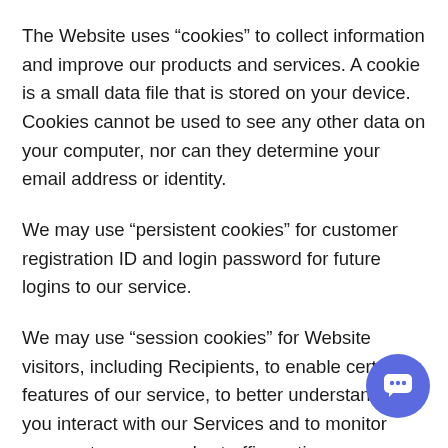The Website uses “cookies” to collect information and improve our products and services. A cookie is a small data file that is stored on your device. Cookies cannot be used to see any other data on your computer, nor can they determine your email address or identity.
We may use “persistent cookies” for customer registration ID and login password for future logins to our service.
We may use “session cookies” for Website visitors, including Recipients, to enable certain features of our service, to better understand how you interact with our Services and to monitor aggregate usage and web traffic routing on our Website and Platform.